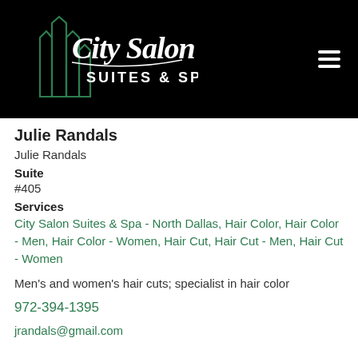[Figure (logo): City Salon Suites & Spa logo — green building outline with white cursive 'City Salon' text and 'SUITES & SPA' in white on black background]
Julie Randals
Julie Randals
Suite
#405
Services
City Salon Suites & Spa - North Dallas, Hair Color, Hair Color - Men, Hair Color - Women, Hair Cut, Hair Cut - Men, Hair Cut - Women
Men's and women's hair cuts; specialist in hair color
972-394-1395
jrandals@gmail.com